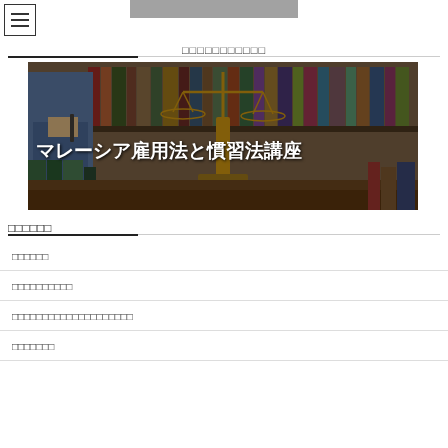☰ [header image]
□□□□□□□□□□□
[Figure (photo): Legal scales of justice on a desk with law books and a person writing in background. Overlaid white text reads: マレーシア雇用法と慣習法講座]
□□□□□□
□□□□□□
□□□□□□□□□□
□□□□□□□□□□□□□□□□□□□□